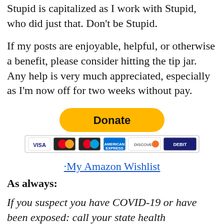Stupid is capitalized as I work with Stupid, who did just that. Don't be Stupid.
If my posts are enjoyable, helpful, or otherwise a benefit, please consider hitting the tip jar. Any help is very much appreciated, especially as I'm now off for two weeks without pay.
[Figure (other): PayPal Donate button with payment card icons (Visa, Mastercard, Maestro, American Express, Discover, credit card)]
·My Amazon Wishlist
As always:
If you suspect you have COVID-19 or have been exposed: call your state health department and work with them so that you can be dealt with in a